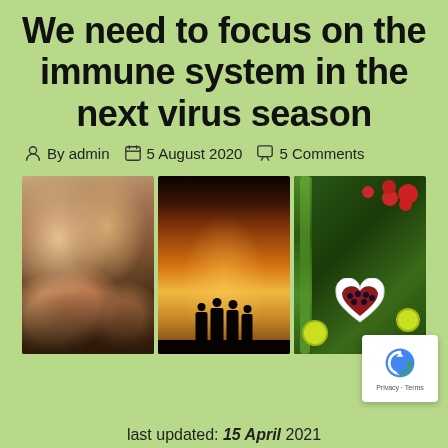We need to focus on the immune system in the next virus season
By admin   5 August 2020   5 Comments
[Figure (photo): Three photos side by side: (1) smiling children making peace signs, (2) silhouette of four friends with arms around each other at sunset, (3) overhead view of healthy foods including tomatoes, vegetables, and a heart-shaped bowl of berries]
last updated: 15 April 2021